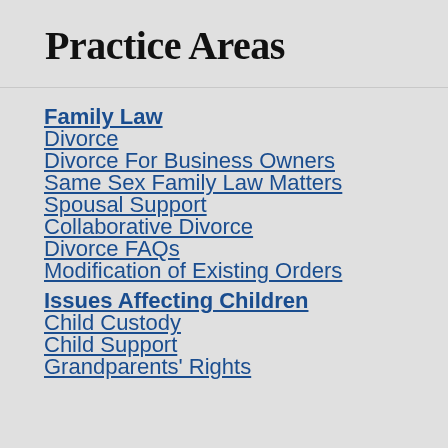Practice Areas
Family Law
Divorce
Divorce For Business Owners
Same Sex Family Law Matters
Spousal Support
Collaborative Divorce
Divorce FAQs
Modification of Existing Orders
Issues Affecting Children
Child Custody
Child Support
Grandparents' Rights